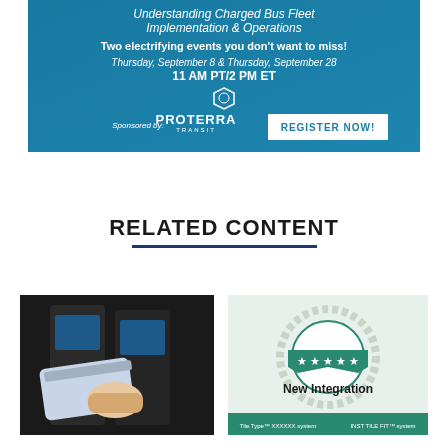[Figure (infographic): Advertisement banner for Proterra Transit webinar on Understanding Charged Bus Fleet Implementation & Operations. Blue background with white text showing event details: Two electrifying events you don't want to miss! Thursday, September 8 & Thursday, September 28, 11 AM PT/2 PM ET. Sponsored by Proterra Transit with a Register Now button.]
RELATED CONTENT
[Figure (photo): Photo of a hand holding a blue card (contactless payment/transit card) near a transit fare reader/kiosk in a dark environment.]
[Figure (illustration): Badge/seal graphic with teal and white colors, stars, circular design. Text reads 'New Integration' in bold dark text.]